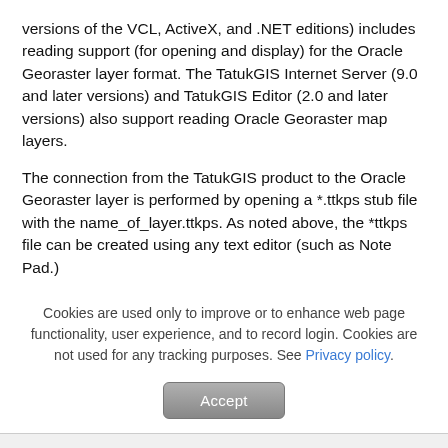versions of the VCL, ActiveX, and .NET editions) includes reading support (for opening and display) for the Oracle Georaster layer format. The TatukGIS Internet Server (9.0 and later versions) and TatukGIS Editor (2.0 and later versions) also support reading Oracle Georaster map layers.
The connection from the TatukGIS product to the Oracle Georaster layer is performed by opening a *.ttkps stub file with the name_of_layer.ttkps. As noted above, the *ttkps file can be created using any text editor (such as Note Pad.)
The structure of the *.ttkps file must be:
[TatukGIS Layer]
Cookies are used only to improve or to enhance web page functionality, user experience, and to record login. Cookies are not used for any tracking purposes. See Privacy policy.
Accept